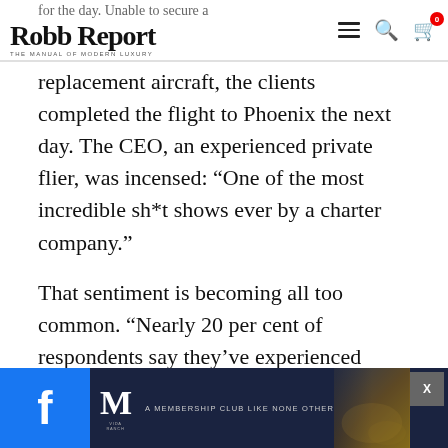Robb Report – THE MANUAL OF MODERN LUXURY
replacement aircraft, the clients completed the flight to Phoenix the next day. The CEO, an experienced private flier, was incensed: “One of the most incredible sh*t shows ever by a charter company.”
That sentiment is becoming all too common. “Nearly 20 per cent of respondents say they’ve experienced service letdowns in the past several months,” says Doug Gollan, president of Private Jet Card Comparisons, pointing to a survey of his clients, one of the most respected aviation associations
[Figure (screenshot): Website advertisement banner at the bottom showing a Facebook share button on the left, a membership club logo in the center, and a luxury interior image with a close button on the right.]